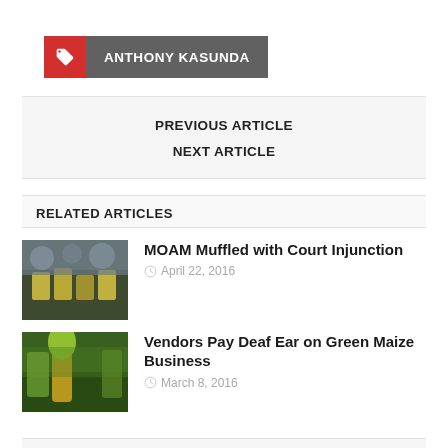ANTHONY KASUNDA
PREVIOUS ARTICLE
NEXT ARTICLE
RELATED ARTICLES
MOAM Muffled with Court Injunction
April 22, 2016
Vendors Pay Deaf Ear on Green Maize Business
March 8, 2016
2 COMMENTS ON CITY COUNCIL CAUGHT ABUSING STREET VENDORS: SOME ASKING FOR SEX FAVORS